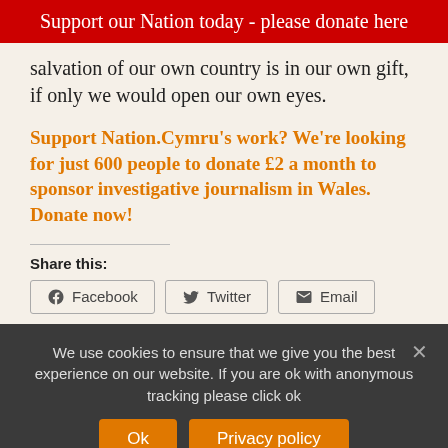Support our Nation today - please donate here
salvation of our own country is in our own gift, if only we would open our own eyes.
Support Nation.Cymru's work? We're looking for just 600 people to donate £2 a month to sponsor investigative journalism in Wales. Donate now!
Share this:
Facebook  Twitter  Email
We use cookies to ensure that we give you the best experience on our website. If you are ok with anonymous tracking please click ok
Ok  Privacy policy